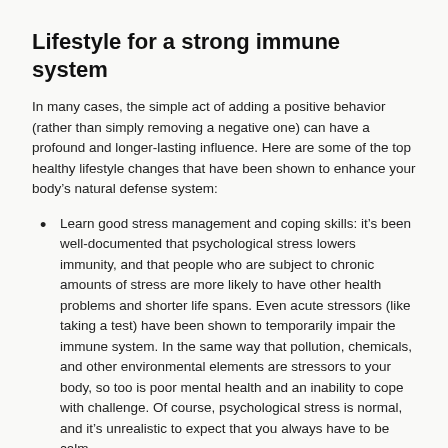Lifestyle for a strong immune system
In many cases, the simple act of adding a positive behavior (rather than simply removing a negative one) can have a profound and longer-lasting influence. Here are some of the top healthy lifestyle changes that have been shown to enhance your body's natural defense system:
Learn good stress management and coping skills: it's been well-documented that psychological stress lowers immunity, and that people who are subject to chronic amounts of stress are more likely to have other health problems and shorter life spans. Even acute stressors (like taking a test) have been shown to temporarily impair the immune system. In the same way that pollution, chemicals, and other environmental elements are stressors to your body, so too is poor mental health and an inability to cope with challenge. Of course, psychological stress is normal, and it's unrealistic to expect that you always have to be calm.